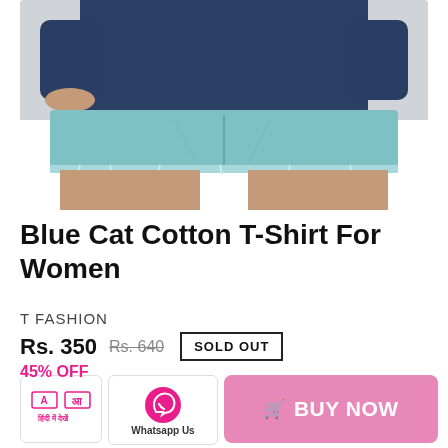[Figure (photo): Woman wearing a navy blue crop top and light blue distressed denim shorts, cropped view showing torso and upper legs]
Blue Cat Cotton T-Shirt For Women
T FASHION
Rs. 350  Rs. 640  SOLD OUT
45% OFF
[Figure (infographic): Hindi language toggle icon and Whatsapp Us button]
BUY NOW